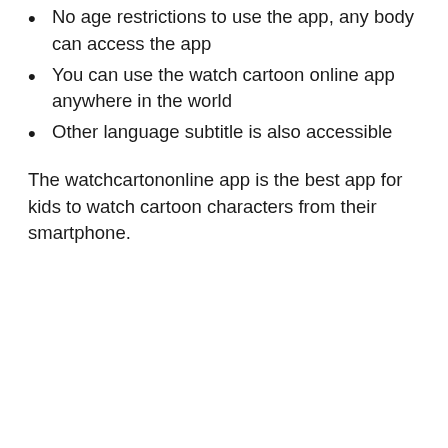No age restrictions to use the app, any body can access the app
You can use the watch cartoon online app anywhere in the world
Other language subtitle is also accessible
The watchcartononline app is the best app for kids to watch cartoon characters from their smartphone.